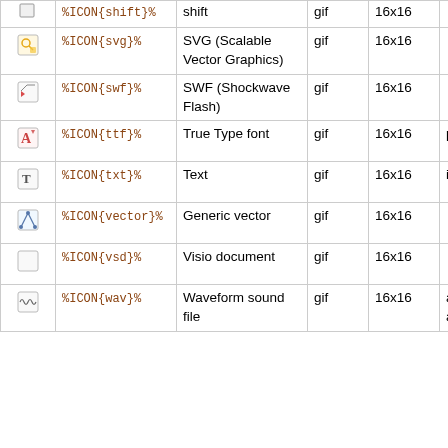| Icon | Code | Description | Format | Size | Extensions |
| --- | --- | --- | --- | --- | --- |
| [icon] | %ICON{shift}% | shift | gif | 16x16 |  |
| [svg-icon] | %ICON{svg}% | SVG (Scalable Vector Graphics) | gif | 16x16 |  |
| [swf-icon] | %ICON{swf}% | SWF (Shockwave Flash) | gif | 16x16 |  |
| [ttf-icon] | %ICON{ttf}% | True Type font | gif | 16x16 | pfm |
| [txt-icon] | %ICON{txt}% | Text | gif | 16x16 | inf, ini, text |
| [vector-icon] | %ICON{vector}% | Generic vector | gif | 16x16 |  |
|  | %ICON{vsd}% | Visio document | gif | 16x16 |  |
| [wav-icon] | %ICON{wav}% | Waveform sound file | gif | 16x16 | abs, aif, aiff, au, mid, |